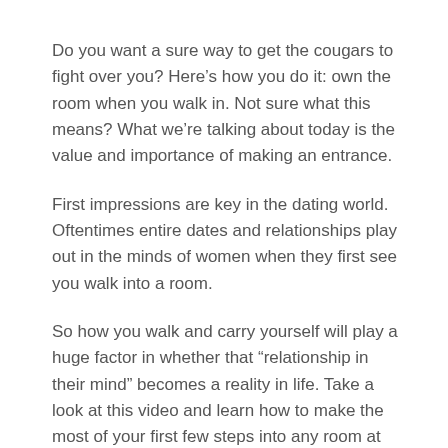Do you want a sure way to get the cougars to fight over you? Here’s how you do it: own the room when you walk in. Not sure what this means? What we’re talking about today is the value and importance of making an entrance.
First impressions are key in the dating world. Oftentimes entire dates and relationships play out in the minds of women when they first see you walk into a room.
So how you walk and carry yourself will play a huge factor in whether that “relationship in their mind” becomes a reality in life. Take a look at this video and learn how to make the most of your first few steps into any room at any venue.